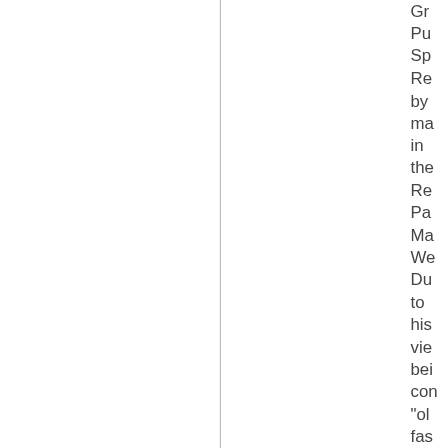Gr Pu Sp Re by ma in the Re Pa Ma We Du to his vie bei con "ol fas out and und his res